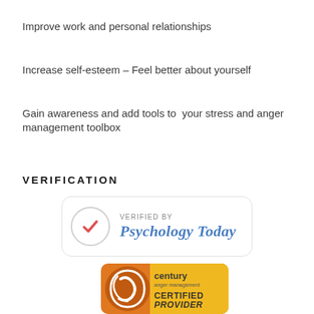Improve work and personal relationships
Increase self-esteem – Feel better about yourself
Gain awareness and add tools to  your stress and anger management toolbox
VERIFICATION
[Figure (logo): Psychology Today verified badge — circular red checkmark on left, 'VERIFIED BY' text above 'Psychology Today' in blue italic serif font, all in a rounded white box with light border]
[Figure (logo): Century Anger Management Certified Provider badge — orange circular logo with stylized figure on left, 'century anger management CERTIFIED PROVIDER' text on yellow/orange background]